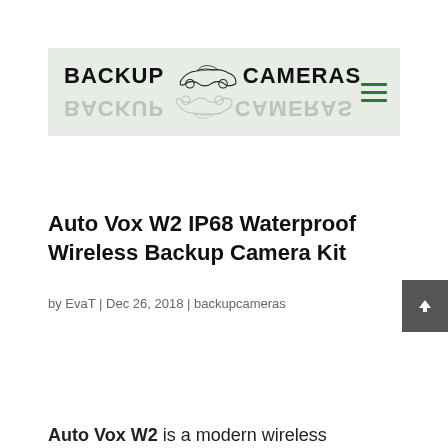BACKUP CAMERAS
Auto Vox W2 IP68 Waterproof Wireless Backup Camera Kit
by EvaT | Dec 26, 2018 | backupcameras
Auto Vox W2 is a modern wireless